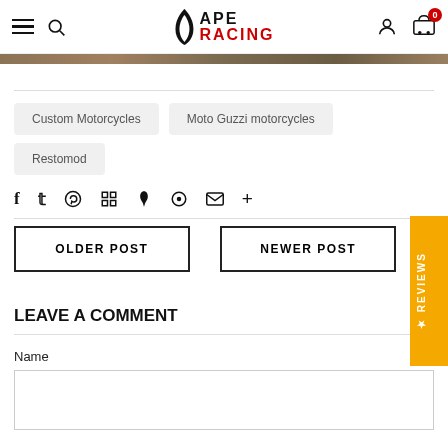APE RACING — navigation header with hamburger menu, search, logo, account, cart (0)
[Figure (photo): Cropped brown/tan decorative hero image bar at top of page content]
Custom Motorcycles
Moto Guzzi motorcycles
Restomod
Social share icons: Facebook, Twitter, Pinterest, Grid, Feather, Circle, Email, Plus
OLDER POST
NEWER POST
LEAVE A COMMENT
Name
[Name input field]